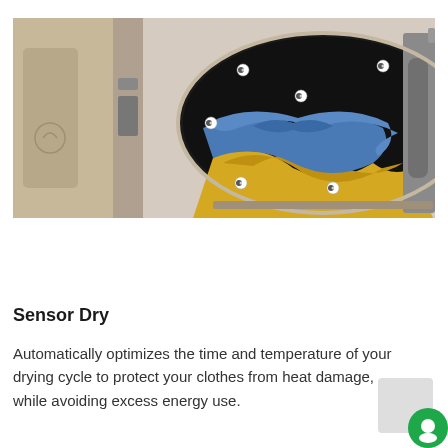[Figure (photo): A dryer with door open showing clothes (blue and yellow fabric) inside the drum. White circular sensor dots are visible on the inner surface of the drum door. The dryer appears to be a champagne/gold color with a control panel on the left side.]
Sensor Dry
Automatically optimizes the time and temperature of your drying cycle to protect your clothes from heat damage, while avoiding excess energy use.